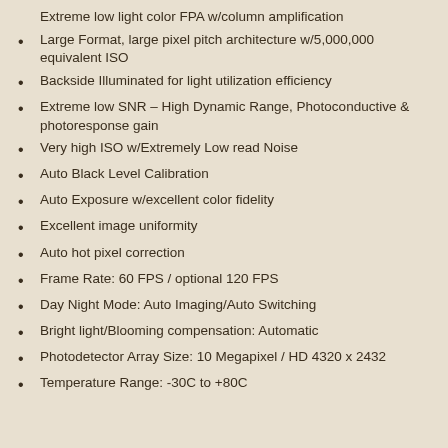Extreme low light color FPA w/column amplification
Large Format, large pixel pitch architecture w/5,000,000 equivalent ISO
Backside Illuminated for light utilization efficiency
Extreme low SNR – High Dynamic Range, Photoconductive & photoresponse gain
Very high ISO w/Extremely Low read Noise
Auto Black Level Calibration
Auto Exposure w/excellent color fidelity
Excellent image uniformity
Auto hot pixel correction
Frame Rate: 60 FPS / optional 120 FPS
Day Night Mode: Auto Imaging/Auto Switching
Bright light/Blooming compensation: Automatic
Photodetector Array Size: 10 Megapixel / HD 4320 x 2432
Temperature Range: -30C to +80C